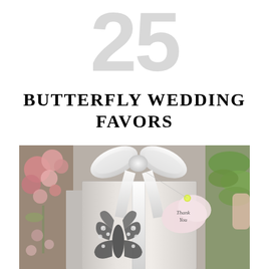25
BUTTERFLY WEDDING FAVORS
[Figure (photo): A silver gift box tied with a white satin ribbon bow, decorated with an ornate silver butterfly charm with crystal embellishments, and a pink floral Thank You tag with a yellow accent. Pink flowers are visible in the background on the left side, and green leaves on the right.]